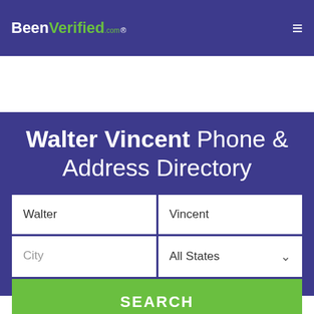BeenVerified.com
Walter Vincent Phone & Address Directory
Walter | Vincent
City | All States
SEARCH
Walter E Vincent
Butte, Montana